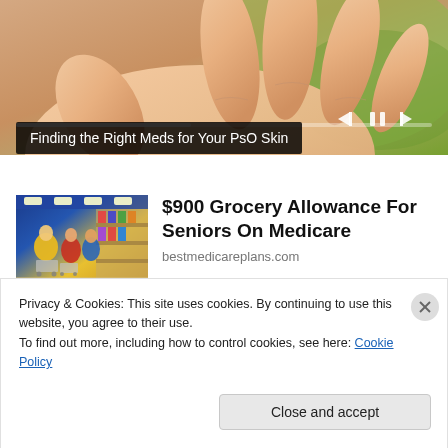[Figure (photo): Close-up photo of an open human hand against a green blurred background, with media player controls (previous, pause, next) and a progress bar overlay.]
Finding the Right Meds for Your PsO Skin
[Figure (photo): Photo of a grocery store aisle with shoppers, used as advertisement thumbnail.]
$900 Grocery Allowance For Seniors On Medicare
bestmedicareplans.com
Privacy & Cookies: This site uses cookies. By continuing to use this website, you agree to their use.
To find out more, including how to control cookies, see here: Cookie Policy
Close and accept